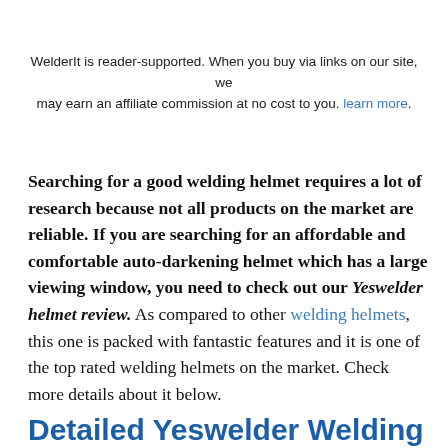WelderIt is reader-supported. When you buy via links on our site, we may earn an affiliate commission at no cost to you. learn more.
Searching for a good welding helmet requires a lot of research because not all products on the market are reliable. If you are searching for an affordable and comfortable auto-darkening helmet which has a large viewing window, you need to check out our Yeswelder helmet review. As compared to other welding helmets, this one is packed with fantastic features and it is one of the top rated welding helmets on the market. Check more details about it below.
Detailed Yeswelder Welding